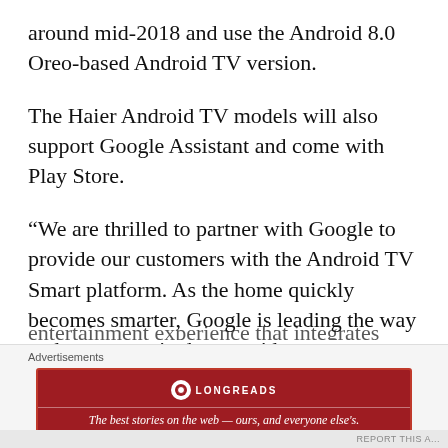around mid-2018 and use the Android 8.0 Oreo-based Android TV version.
The Haier Android TV models will also support Google Assistant and come with Play Store.
“We are thrilled to partner with Google to provide our customers with the Android TV Smart platform. As the home quickly becomes smarter, Google is leading the way and we are excited to provide customers with an entertainment experience that integrates
Advertisements
[Figure (other): Longreads advertisement banner in dark red with logo and tagline: The best stories on the web — ours, and everyone else’s.]